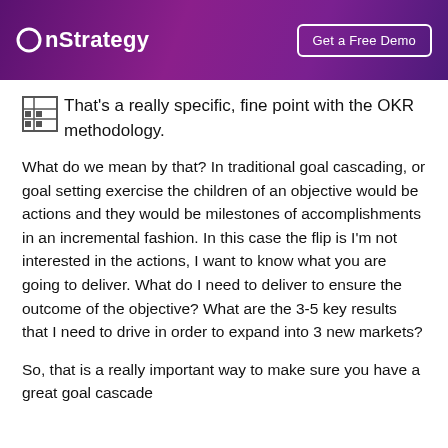OnStrategy | Get a Free Demo
That's a really specific, fine point with the OKR methodology.
What do we mean by that? In traditional goal cascading, or goal setting exercise the children of an objective would be actions and they would be milestones of accomplishments in an incremental fashion. In this case the flip is I'm not interested in the actions, I want to know what you are going to deliver. What do I need to deliver to ensure the outcome of the objective? What are the 3-5 key results that I need to drive in order to expand into 3 new markets?
So, that is a really important way to make sure you have a great goal cascade